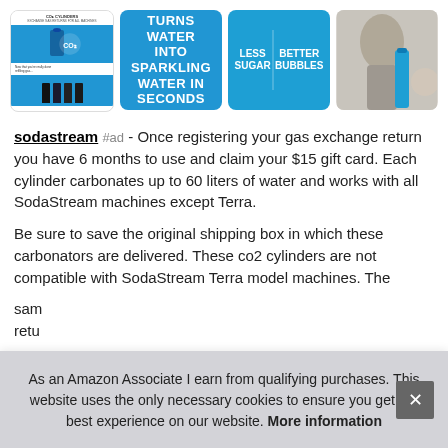[Figure (screenshot): Row of four product images for SodaStream: first shows CO2 cylinders info graphic on white/blue background, second shows blue background with text TURNS WATER INTO SPARKLING WATER IN SECONDS, third shows blue background with LESS SUGAR and BETTER BUBBLES text, fourth shows a lifestyle photo of a woman with a SodaStream bottle.]
sodastream #ad - Once registering your gas exchange return you have 6 months to use and claim your $15 gift card. Each cylinder carbonates up to 60 liters of water and works with all SodaStream machines except Terra.
Be sure to save the original shipping box in which these carbonators are delivered. These co2 cylinders are not compatible with SodaStream Terra model machines. The same... retu...
As an Amazon Associate I earn from qualifying purchases. This website uses the only necessary cookies to ensure you get the best experience on our website. More information